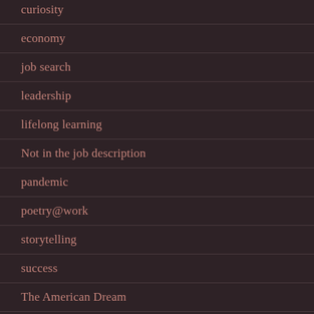curiosity
economy
job search
leadership
lifelong learning
Not in the job description
pandemic
poetry@work
storytelling
success
The American Dream